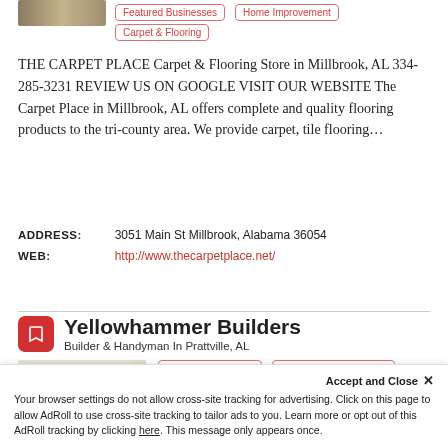[Figure (photo): Thumbnail image of carpet/flooring in top-left area]
Featured Businesses
Home Improvement
Carpet & Flooring
THE CARPET PLACE Carpet & Flooring Store in Millbrook, AL 334-285-3231 REVIEW US ON GOOGLE VISIT OUR WEBSITE The Carpet Place in Millbrook, AL offers complete and quality flooring products to the tri-county area. We provide carpet, tile flooring…
ADDRESS:   3051 Main St Millbrook, Alabama 36054
WEB:   http://www.thecarpetplace.net/
Yellowhammer Builders
Builder & Handyman In Prattville, AL
[Figure (logo): Yellowhammer Builders logo with yellow and red text on light background]
Home Improvement
Awnings & Patio Covers
Accept and Close ✕
Your browser settings do not allow cross-site tracking for advertising. Click on this page to allow AdRoll to use cross-site tracking to tailor ads to you. Learn more or opt out of this AdRoll tracking by clicking here. This message only appears once.